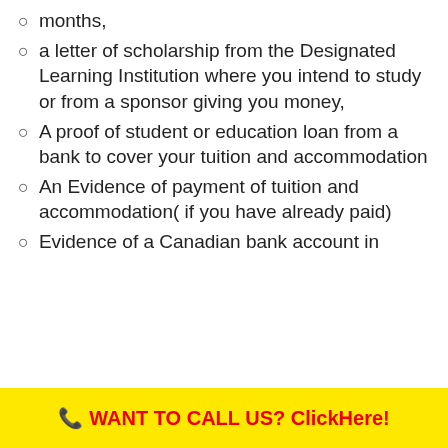months,
a letter of scholarship from the Designated Learning Institution where you intend to study or from a sponsor giving you money,
A proof of student or education loan from a bank to cover your tuition and accommodation
An Evidence of payment of tuition and accommodation( if you have already paid)
Evidence of a Canadian bank account in
☎ WANT TO CALL US? ClickHere!